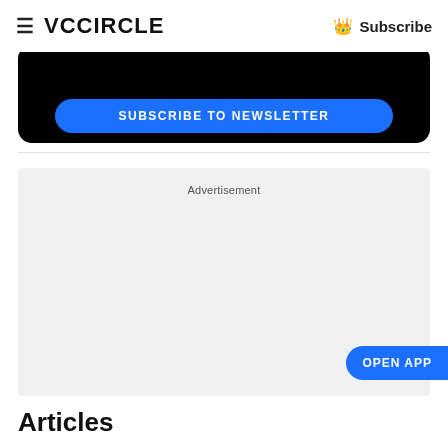VCCiRCLE | Subscribe
[Figure (other): Subscribe to Newsletter banner button on black rounded background]
[Figure (other): Advertisement placeholder box with light gray background]
OPEN APP
Articles